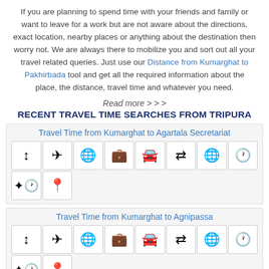If you are planning to spend time with your friends and family or want to leave for a work but are not aware about the directions, exact location, nearby places or anything about the destination then worry not. We are always there to mobilize you and sort out all your travel related queries. Just use our Distance from Kumarghat to Pakhirbada tool and get all the required information about the place, the distance, travel time and whatever you need.
Read more > > >
RECENT TRAVEL TIME SEARCHES FROM TRIPURA
Travel Time from Kumarghat to Agartala Secretariat
[Figure (infographic): Grid of travel-related icons: arrow up-down, airplane, globe, briefcase/luggage, car, arrows left-right, world/globe, clock, and second row: person with clock, location pin]
Travel Time from Kumarghat to Agnipassa
[Figure (infographic): Grid of travel-related icons: arrow up-down, airplane, globe, briefcase/luggage, car, arrows left-right, world/globe, clock, and partial second row: person with clock, location pin]